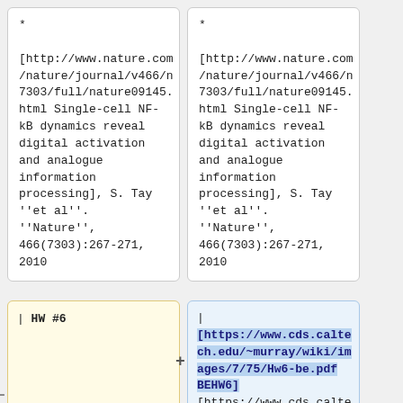* [http://www.nature.com/nature/journal/v466/n7303/full/nature09145.html Single-cell NF-kB dynamics reveal digital activation and analogue information processing], S. Tay ''et al''. ''Nature'', 466(7303):267-271, 2010
* [http://www.nature.com/nature/journal/v466/n7303/full/nature09145.html Single-cell NF-kB dynamics reveal digital activation and analogue information processing], S. Tay ''et al''. ''Nature'', 466(7303):267-271, 2010
| HW #6
| [https://www.cds.caltech.edu/~murray/wiki/images/7/75/Hw6-be.pdf BEHW6] [https://www.cds.calte